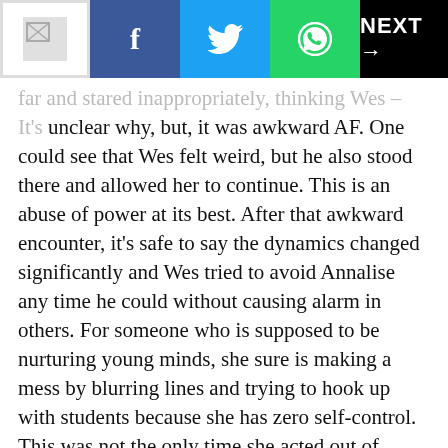NEXT →
far and stared inappropriately, thinking Wes – It's unclear why, but, it was awkward AF. One could see that Wes felt weird, but he also stood there and allowed her to continue. This is an abuse of power at its best. After that awkward encounter, it's safe to say the dynamics changed significantly and Wes tried to avoid Annalise any time he could without causing alarm in others. For someone who is supposed to be nurturing young minds, she sure is making a mess by blurring lines and trying to hook up with students because she has zero self-control. This was not the only time she acted out of pocket with Wes. Sometimes he even responded favorably.
4. She Makes Them Hate